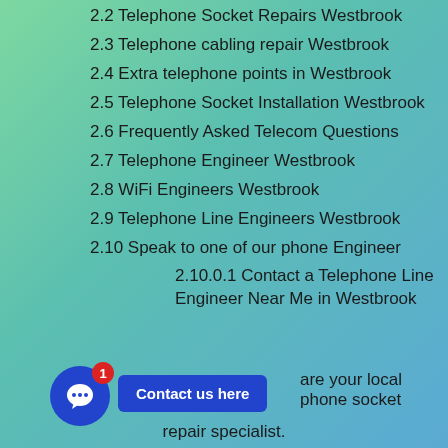2.2 Telephone Socket Repairs Westbrook
2.3 Telephone cabling repair Westbrook
2.4 Extra telephone points in Westbrook
2.5 Telephone Socket Installation Westbrook
2.6 Frequently Asked Telecom Questions
2.7 Telephone Engineer Westbrook
2.8 WiFi Engineers Westbrook
2.9 Telephone Line Engineers Westbrook
2.10 Speak to one of our phone Engineer
2.10.0.1 Contact a Telephone Line Engineer Near Me in Westbrook
are your local phone socket repair specialist.